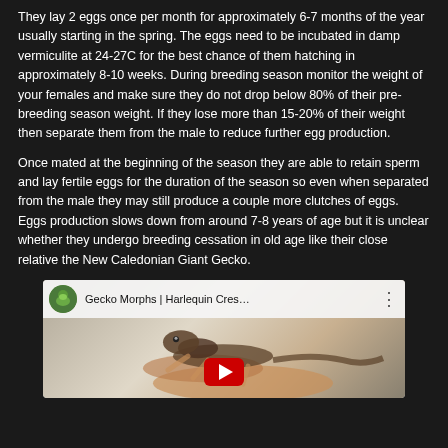They lay 2 eggs once per month for approximately 6-7 months of the year usually starting in the spring. The eggs need to be incubated in damp vermiculite at 24-27C for the best chance of them hatching in approximately 8-10 weeks. During breeding season monitor the weight of your females and make sure they do not drop below 80% of their pre-breeding season weight. If they lose more than 15-20% of their weight then separate them from the male to reduce further egg production.
Once mated at the beginning of the season they are able to retain sperm and lay fertile eggs for the duration of the season so even when separated from the male they may still produce a couple more clutches of eggs. Eggs production slows down from around 7-8 years of age but it is unclear whether they undergo breeding cessation in old age like their close relative the New Caledonian Giant Gecko.
[Figure (screenshot): YouTube video thumbnail showing a gecko being held, with channel icon, title 'Gecko Morphs | Harlequin Cres...' and a red play button at the bottom.]